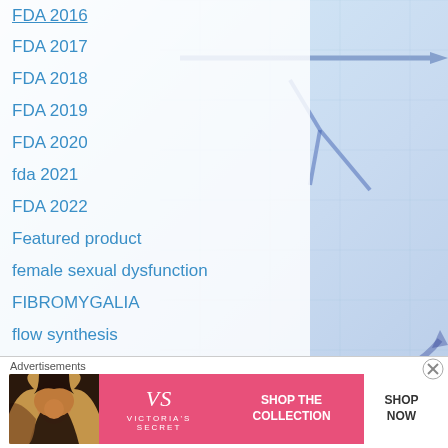FDA 2016
FDA 2017
FDA 2018
FDA 2019
FDA 2020
fda 2021
FDA 2022
Featured product
female sexual dysfunction
FIBROMYGALIA
flow synthesis
FORMULATION
GAIN
Gastric Proton Pump Inhibitor
Generating Antibiotic Incentives Now
GENERIC DRUG
[Figure (screenshot): Blurred background image showing medical/scientific diagrams in blue tones]
[Figure (photo): Advertisement banner: Victoria's Secret - Shop The Collection - Shop Now]
Advertisements